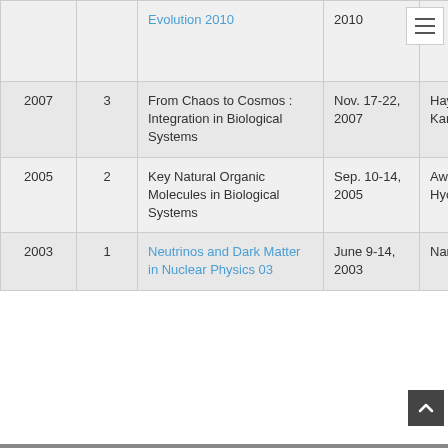| Year | # | Title | Date | Place |
| --- | --- | --- | --- | --- |
|  |  | Evolution 2010 | 2010 |  |
| 2007 | 3 | From Chaos to Cosmos : Integration in Biological Systems | Nov. 17-22, 2007 | Hayama, Kanagawa |
| 2005 | 2 | Key Natural Organic Molecules in Biological Systems | Sep. 10-14, 2005 | Awajishima, Hyogo |
| 2003 | 1 | Neutrinos and Dark Matter in Nuclear Physics 03 | June 9-14, 2003 | Nara-ctiy, Nara |